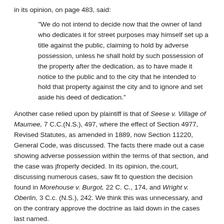in its opinion, on page 483, said:
“We do not intend to decide now that the owner of land who dedicates it for street purposes may himself set up a title against the public, claiming to hold by adverse possession, unless he shall hold by such possession of the property after the dedication, as to have made it notice to the public and to the city that he intended to hold that property against the city and to ignore and set aside his deed of dedication.”
Another case relied upon by plaintiff is that of Seese v. Village of Maumee, 7 C.C.(N.S.), 497, where the effect of Section 4977, Revised Statutes, as amended in 1889, now Section 11220, General Code, was discussed. The facts there made out a case showing adverse possession within the terms of that section, and the case was jfroperly decided. In its opinion, the.court, discussing numerous cases, saw fit to question the decision found in Morehouse v. Burgot, 22 C. C., 174, and Wright v. Oberlin, 3 C.c. (N.S.), 242. We think this was unnecessary, and on the contrary approve the doctrine as laid down in the cases last named.
In the ease at bar we think the evidence has failed to make out a case of adverse possession under the terms of Section 11220, General Code. It appears that the property covered by this subdivision of which the street was a part was rough and hilly, that there was an old fence